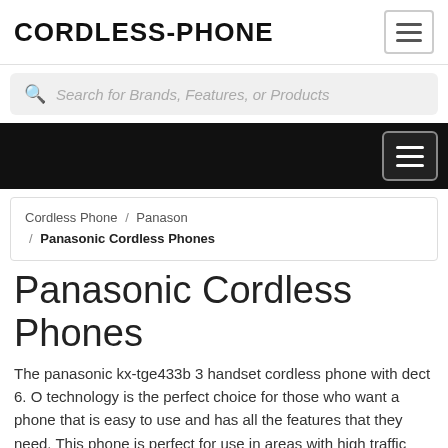CORDLESS-PHONE
Search for Brands, Features, or Products
Cordless Phone / Panason / Panasonic Cordless Phones
Panasonic Cordless Phones
The panasonic kx-tge433b 3 handset cordless phone with dect 6. O technology is the perfect choice for those who want a phone that is easy to use and has all the features that they need. This phone is perfect for use in areas with high traffic volume, such as school campuses. With its t-shaped end feel and loud sound it is sure to get rates from everyone you